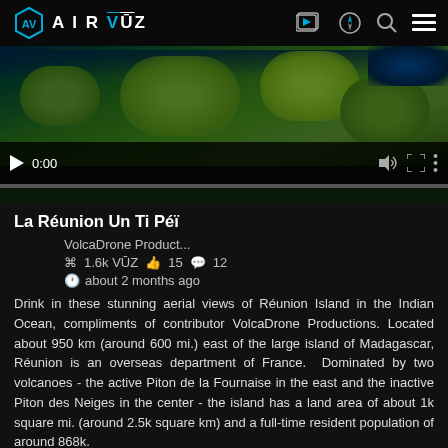AirVūz
[Figure (screenshot): Video player thumbnail showing aerial view of Réunion Island with green vegetation and dark water. Video controls visible: play button, timestamp 0:00, volume, fullscreen, and more options. Progress bar at bottom.]
La Réunion Un Ti Péï
VolcaDrone Product...
⌘ 1.6k VŪZ  👍 15  💬 12
🕐 about 2 months ago
Drink in these stunning aerial views of Réunion Island in the Indian Ocean, compliments of contributor VolcaDrone Productions. Located about 950 km (around 600 mi.) east of the large island of Madagascar, Réunion is an overseas department of France.  Dominated by two volcanoes - the active Piton de la Fournaise in the east and the inactive Piton des Neiges in the center - the island has a land area of about 1k square mi. (around 2.5k square km) and a full-time resident population of around 868k.